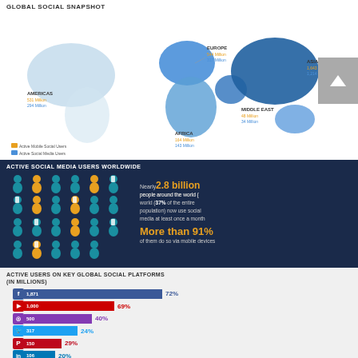GLOBAL SOCIAL SNAPSHOT
[Figure (map): World map showing active mobile social users and active social media users by region: Americas 531Million/294Million, Europe 544Million/317Million, Asia Pacific 1,643Million/1,214Million, Africa 164Million/143Million, Middle East 48Million/34Million]
ACTIVE SOCIAL MEDIA USERS WORLDWIDE
[Figure (infographic): Grid of people icons (teal and orange) representing social media users. Nearly 2.8 billion people around the world (37% of the entire population) now use social media at least once a month. More than 91% of them do so via mobile devices.]
ACTIVE USERS ON KEY GLOBAL SOCIAL PLATFORMS (IN MILLIONS)
[Figure (bar-chart): Active Users on Key Global Social Platforms (in Millions)]